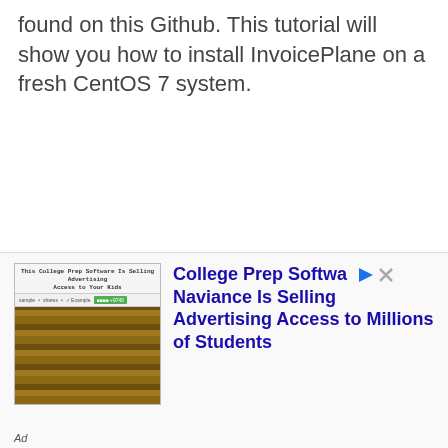found on this Github. This tutorial will show you how to install InvoicePlane on a fresh CentOS 7 system.
[Figure (screenshot): Advertisement banner showing a webpage screenshot on the left with a brown/brick visual and small toolbar, and bold blue text on the right reading 'College Prep Softwa Naviance Is Selling Advertising Access to Millions of Students' with play and close icons.]